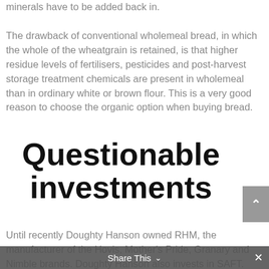minerals have to be added back in. The drawback of conventional wholemeal bread, in which the whole of the wheatgrain is retained, is that higher residue levels of fertilisers, pesticides and post-harvest storage treatment chemicals are present in wholemeal than in ordinary white or brown flour. This is a very good reason to choose the organic option when buying bread.
Questionable investments
Until recently Doughty Hanson owned RHM, the manufacturer of the Hovis, Mother's Pride, Granary and Nimble brands. Doughty Hanson also invests in SAFT. This multinational company
Share This